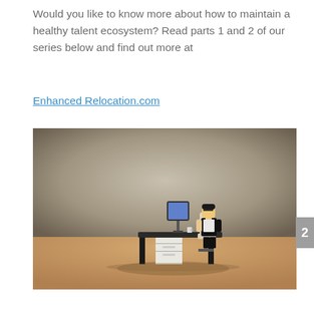Would you like to know more about how to maintain a healthy talent ecosystem? Read parts 1 and 2 of our series below and find out more at Enhanced Relocation.com
[Figure (photo): A LEGO minifigure sitting at a miniature office desk with a small computer monitor, filing cabinet, and office chair, photographed on a wooden surface with a warm gradient background. The scene depicts a tiny office worker at their workspace.]